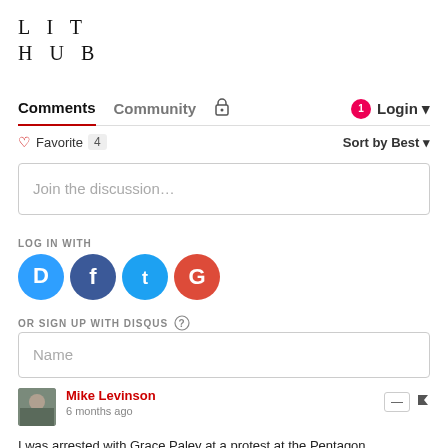LIT HUB
Comments  Community  Login
Favorite 4  Sort by Best
Join the discussion…
LOG IN WITH
[Figure (other): Social login icons: Disqus (blue), Facebook (dark blue), Twitter (light blue), Google (red)]
OR SIGN UP WITH DISQUS
Name
Mike Levinson
6 months ago
I was arrested with Grace Paley at a protest at the Pentagon